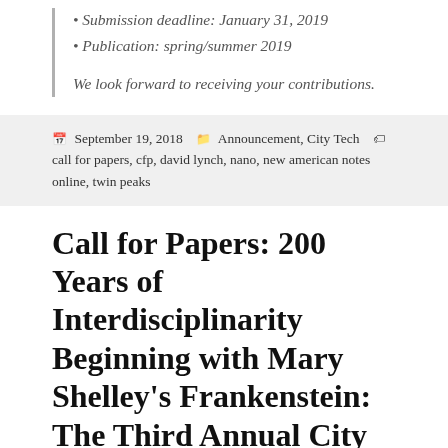Submission deadline: January 31, 2019
Publication: spring/summer 2019
We look forward to receiving your contributions.
September 19, 2018   Announcement, City Tech   call for papers, cfp, david lynch, nano, new american notes online, twin peaks
Call for Papers: 200 Years of Interdisciplinarity Beginning with Mary Shelley's Frankenstein: The Third Annual City Tech